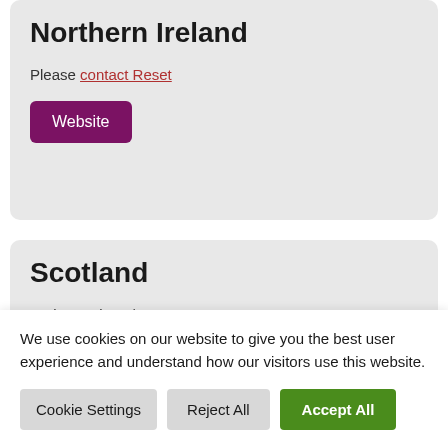Northern Ireland
Please contact Reset
Website
Scotland
Andy Morrison /
We use cookies on our website to give you the best user experience and understand how our visitors use this website.
Cookie Settings | Reject All | Accept All